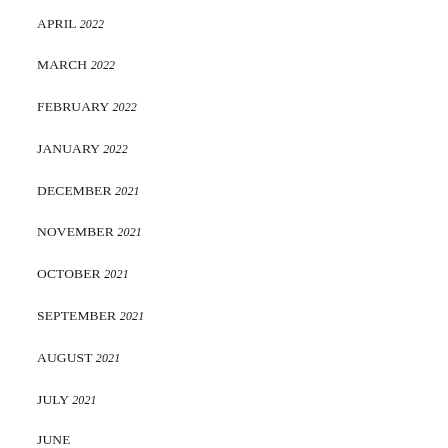APRIL 2022
MARCH 2022
FEBRUARY 2022
JANUARY 2022
DECEMBER 2021
NOVEMBER 2021
OCTOBER 2021
SEPTEMBER 2021
AUGUST 2021
JULY 2021
JUNE…